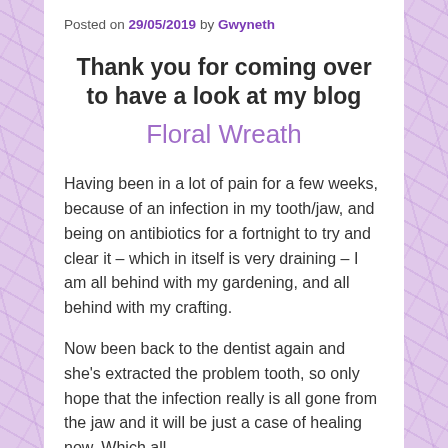Posted on 29/05/2019 by Gwyneth
Thank you for coming over to have a look at my blog
Floral Wreath
Having been in a lot of pain for a few weeks, because of an infection in my tooth/jaw, and being on antibiotics for a fortnight to try and clear it – which in itself is very draining – I am all behind with my gardening, and all behind with my crafting.
Now been back to the dentist again and she's extracted the problem tooth, so only hope that the infection really is all gone from the jaw and it will be just a case of healing now. Which all